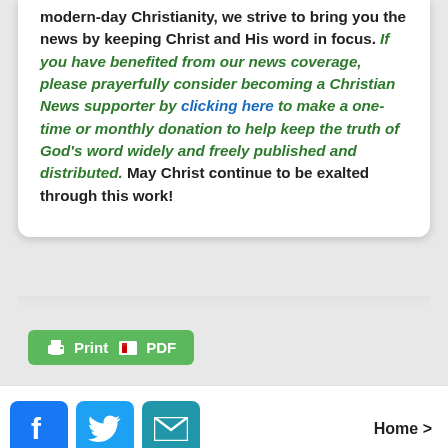modern-day Christianity, we strive to bring you the news by keeping Christ and His word in focus. If you have benefited from our news coverage, please prayerfully consider becoming a Christian News supporter by clicking here to make a one-time or monthly donation to help keep the truth of God's word widely and freely published and distributed. May Christ continue to be exalted through this work!
[Figure (other): Green Print/PDF button with printer icon]
Commenting Guidelines: We welcome readers to comment on stories, but we will not tolerate remarks containing profanity, vulgarity, violence, blasphemy, all caps or any discourteous behavior. Thank
[Figure (other): Social share buttons: Facebook, Twitter, Email icons and Home link]
discussion about matters affecting our nation and our